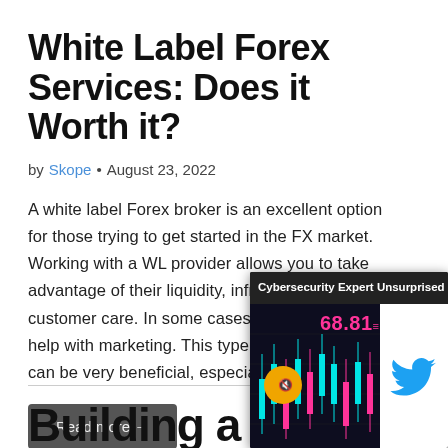White Label Forex Services: Does it Worth it?
by Skope • August 23, 2022
A white label Forex broker is an excellent option for those trying to get started in the FX market. Working with a WL provider allows you to take advantage of their liquidity, infrastructure, and customer care. In some cases, they may also help with marketing. This type of arrangement can be very beneficial, especially for...
Read more →
[Figure (screenshot): Overlay popup showing 'Cybersecurity Expert Unsurprised F...' headline with a financial chart displaying price 68.81 and candlestick chart with cyan/magenta candles on dark background, alongside a Twitter logo on white background, with a close (×) button.]
Building a